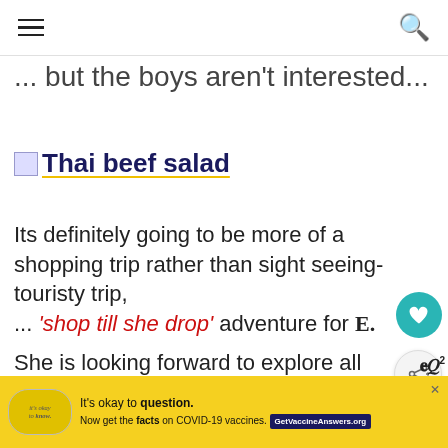[hamburger menu] [search icon]
... but the boys aren't interested...
[Figure (photo): Thai beef salad image link with bold underlined title text]
Its definitely going to be more of a shopping trip rather than sight seeing-touristy trip, ... ‘shop till she drop’ adventure for E.
She is looking forward to explore all the shops, with hope that she may find something nic...
[Figure (photo): What's Next thumbnail showing Pulut Udang/ Charred...]
[Figure (infographic): COVID-19 vaccine ad banner: It's okay to question. Now get the facts on COVID-19 vaccines. GetVaccineAnswers.org]